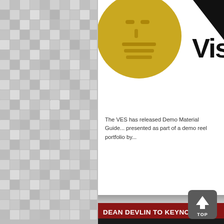[Figure (illustration): Left panel with gray mosaic tile background pattern]
[Figure (logo): VES (Visual Effects Society) logo: gold circle with stylized face icon and partial 'Visu' text in black bold font]
The VES has released Demo Material Guide... presented as part of a demo reel portfolio by...
DEAN DEVLIN TO KEYNOTE VES 201...
POSTED ON AUGUST 6, 2015 BY BILL DESOWITZ IN 3... PERFORMANCE CAPTURE, PREVIS, TECH, VES, VFX...
[Figure (illustration): Gray scroll-to-top button with upward arrow and 'TOP' label]